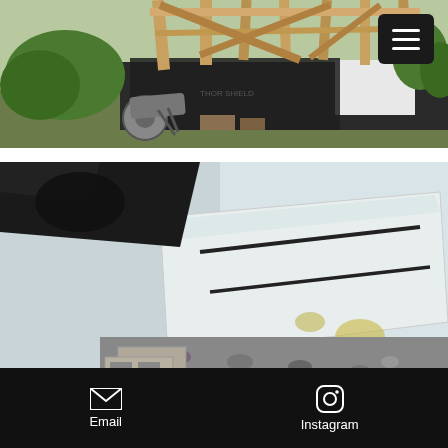[Figure (photo): Construction site photo showing a building under construction with wooden framing, black plastic sheeting/waterproofing on foundation walls, a wheelbarrow on grassy ground, and a hamburger/menu icon button in the top right corner.]
[Figure (photo): Close-up photo of foam insulation blocks placed along the base of a foundation wall, with gravel on the ground and a concrete block visible, showing foam board insulation installation detail.]
We used waste pieces of foam block to
Email   Instagram